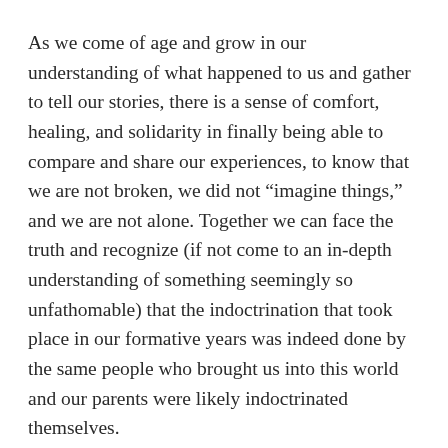As we come of age and grow in our understanding of what happened to us and gather to tell our stories, there is a sense of comfort, healing, and solidarity in finally being able to compare and share our experiences, to know that we are not broken, we did not “imagine things,” and we are not alone. Together we can face the truth and recognize (if not come to an in-depth understanding of something seemingly so unfathomable) that the indoctrination that took place in our formative years was indeed done by the same people who brought us into this world and our parents were likely indoctrinated themselves.
While growing up in this lifestyle may seem pretty extreme or foreign to someone looking at it from the outside (or even to someone like me who grew up in it